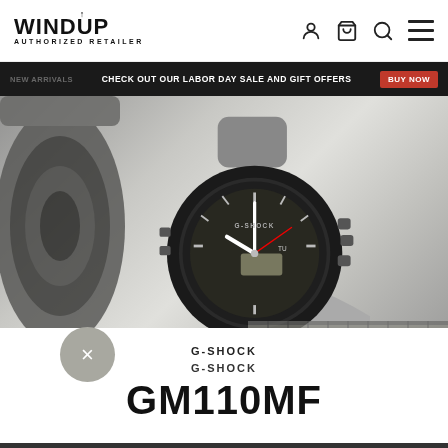[Figure (logo): WINDUP Authorized Retailer logo in black text]
CHECK OUT OUR LABOR DAY SALE AND GIFT OFFERS
[Figure (photo): G-Shock GM110MF watch with black case and grey/white band, placed on a white surface next to a vintage camera and a ruler]
G-SHOCK
GM110MF